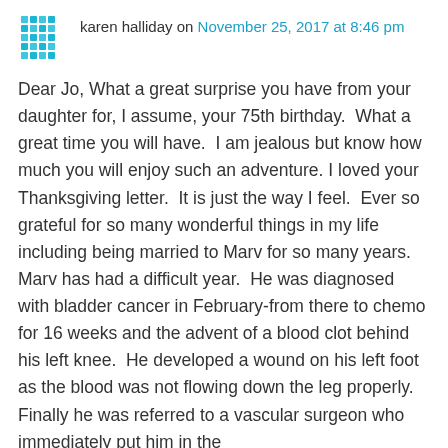[Figure (illustration): Teal/cyan decorative avatar icon with geometric diamond/square pattern]
karen halliday on November 25, 2017 at 8:46 pm
Dear Jo, What a great surprise you have from your daughter for, I assume, your 75th birthday.  What a great time you will have.  I am jealous but know how much you will enjoy such an adventure. I loved your Thanksgiving letter.  It is just the way I feel.  Ever so grateful for so many wonderful things in my life including being married to Marv for so many years.   Marv has had a difficult year.  He was diagnosed with bladder cancer in February-from there to chemo for 16 weeks and the advent of a blood clot behind his left knee.  He developed a wound on his left foot as the blood was not flowing down the leg properly.  Finally he was referred to a vascular surgeon who immediately put him in the